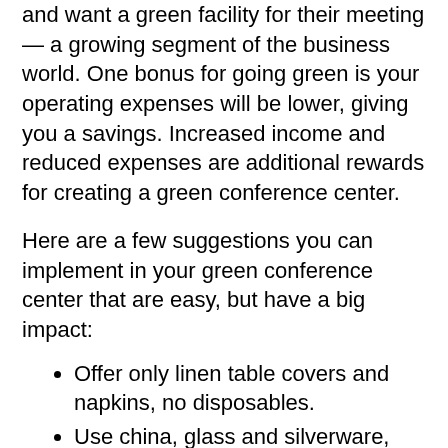and want a green facility for their meeting — a growing segment of the business world. One bonus for going green is your operating expenses will be lower, giving you a savings. Increased income and reduced expenses are additional rewards for creating a green conference center.
Here are a few suggestions you can implement in your green conference center that are easy, but have a big impact:
Offer only linen table covers and napkins, no disposables.
Use china, glass and silverware, not disposables.
Serve beverages and condiments in bulk dispensers, state law allowing,